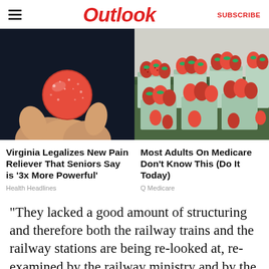Outlook | SUBSCRIBE
[Figure (photo): Hand holding a red round sugary candy/gummy against a dark background]
[Figure (photo): Rows of red strawberries in green cartons/baskets at a market stall]
Virginia Legalizes New Pain Reliever That Seniors Say is '3x More Powerful'
Health Headlines
Most Adults On Medicare Don't Know This (Do It Today)
Q Medicare
"They lacked a good amount of structuring and therefore both the railway trains and the railway stations are being re-looked at, re-examined by the railway ministry and by the railway minister and they will take a call now